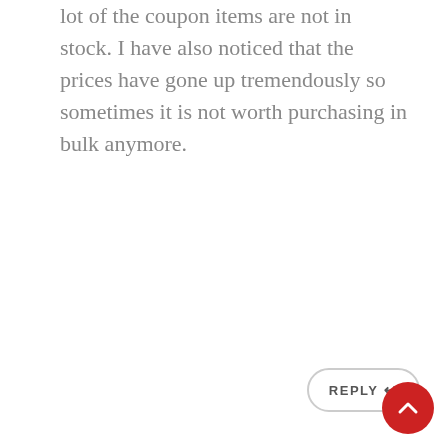lot of the coupon items are not in stock. I have also noticed that the prices have gone up tremendously so sometimes it is not worth purchasing in bulk anymore.
REPLY ↩
Jerdel Hardy
October 12, 2020 at 10:48 pm
I love BJ's!!! Their prices are affordable, they're coupon books are amazing and they except